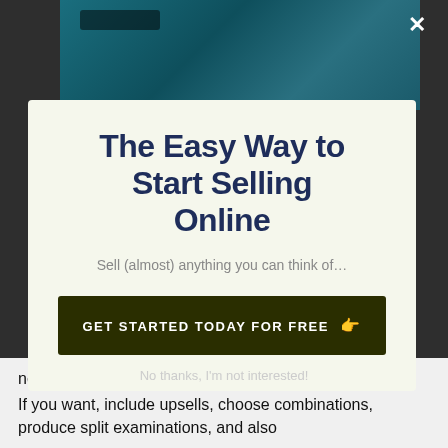[Figure (photo): Dark teal background photo partially visible behind modal popup]
The Easy Way to Start Selling Online
Sell (almost) anything you can think of…
GET STARTED TODAY FOR FREE 👉
No thanks, I'm not interested!
needs.
If you want, include upsells, choose combinations, produce split examinations, and also